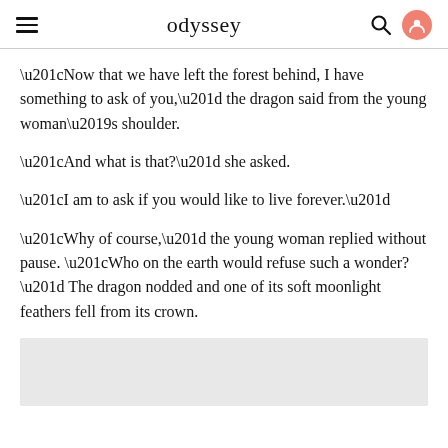odyssey
“Now that we have left the forest behind, I have something to ask of you,” the dragon said from the young woman’s shoulder.
“And what is that?” she asked.
“I am to ask if you would like to live forever.”
“Why of course,” the young woman replied without pause. “Who on the earth would refuse such a wonder?” The dragon nodded and one of its soft moonlight feathers fell from its crown.
[Figure (other): Light gray image placeholder rectangle at the bottom of the page]